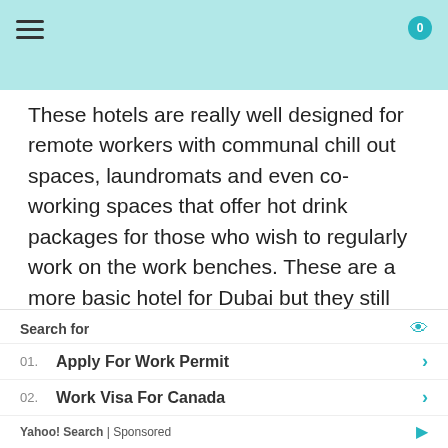≡  0
These hotels are really well designed for remote workers with communal chill out spaces, laundromats and even co-working spaces that offer hot drink packages for those who wish to regularly work on the work benches. These are a more basic hotel for Dubai but they still have facilities such as a gym and swimming pools with sun loungers. These hotels are all about Urban freelancer vibes
Search for
01. Apply For Work Permit
02. Work Visa For Canada
Yahoo! Search | Sponsored